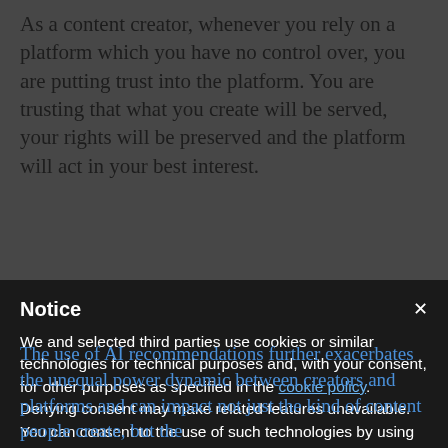As a content creator, whenever you rely on a platform which you have no control over, you are putting trust into the platform. You are trusting that what you create will be served, your rights will be preserved and the platform will act in your best interest.
Notice
We and selected third parties use cookies or similar technologies for technical purposes and, with your consent, for other purposes as specified in the cookie policy. Denying consent may make related features unavailable.
You can consent to the use of such technologies by using the “Accept” button, by closing this notice, by scrolling this page, by interacting with any link or button outside of this notice or by continuing to browse otherwise.
[Figure (screenshot): Screenshot of a website card with image, showing a kangaroo.com.au link and Unsplash attribution]
Accept
Learn more and customize
The use of AI recommendations further exacerbates the unequal power dynamic between creators and platforms and can impact not just the kind of content people create, but the